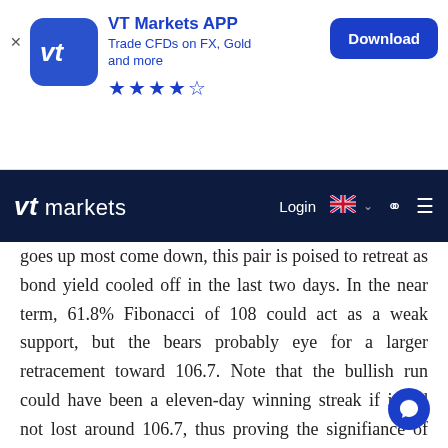[Figure (infographic): VT Markets APP advertisement banner showing app icon, title 'VT Markets APP', subtitle 'Trade CFDs on FX, Gold and more', 4.5 star rating, and Download button]
[Figure (infographic): VT Markets website navigation bar with logo, Login link, UK flag language selector, search icon, and hamburger menu on dark navy background]
goes up most come down, this pair is poised to retreat as bond yield cooled off in the last two days. In the near term, 61.8% Fibonacci of 108 could act as a weak support, but the bears probably eye for a larger retracement toward 106.7. Note that the bullish run could have been a eleven-day winning streak if it did not lost around 106.7, thus proving the signifiance of this